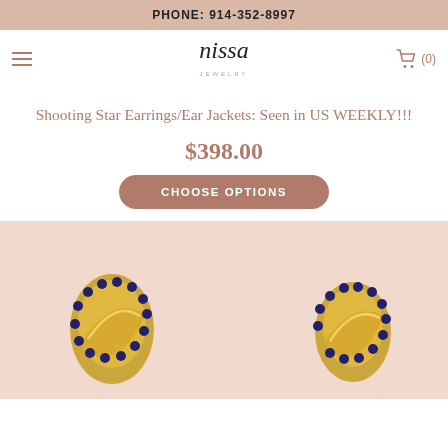PHONE: 914-352-8997
[Figure (logo): Nissa Jewelry cursive logo with 'JEWELRY' subtitle]
Shooting Star Earrings/Ear Jackets: Seen in US WEEKLY!!!
$398.00
CHOOSE OPTIONS
[Figure (photo): Two gold shooting star earrings with blue sapphire stones, shown in close-up on pink background]